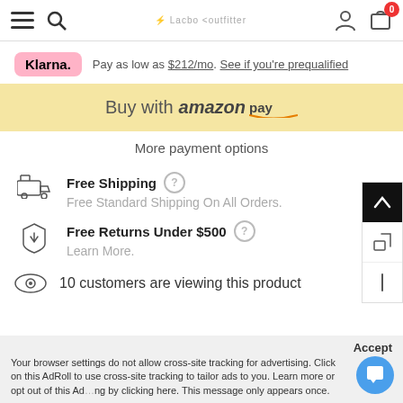[Figure (screenshot): Navigation bar with hamburger menu, search icon, logo, user icon, and cart icon with badge showing 0]
Pay as low as $212/mo. See if you're prequalified
[Figure (screenshot): Buy with Amazon Pay button in yellow/gold color]
More payment options
Free Shipping - Free Standard Shipping On All Orders.
Free Returns Under $500 - Learn More.
10 customers are viewing this product
Accept - Your browser settings do not allow cross-site tracking for advertising. Click on this AdRoll to use cross-site tracking to tailor ads to you. Learn more or opt out of this AdRoll by clicking here. This message only appears once.